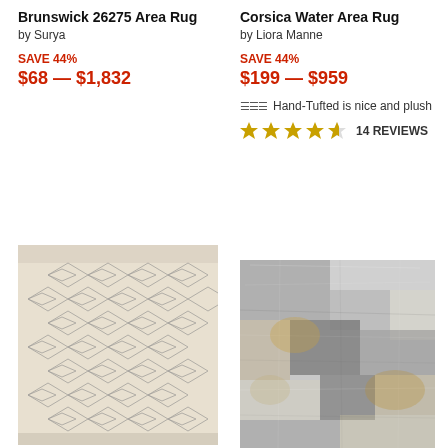Brunswick 26275 Area Rug
by Surya
SAVE 44%
$68 — $1,832
Corsica Water Area Rug
by Liora Manne
SAVE 44%
$199 — $959
Hand-Tufted is nice and plush
14 REVIEWS
[Figure (photo): Cream/ivory area rug with geometric diamond lattice pattern in gray]
[Figure (photo): Abstract distressed area rug in gray, white and gold tones]